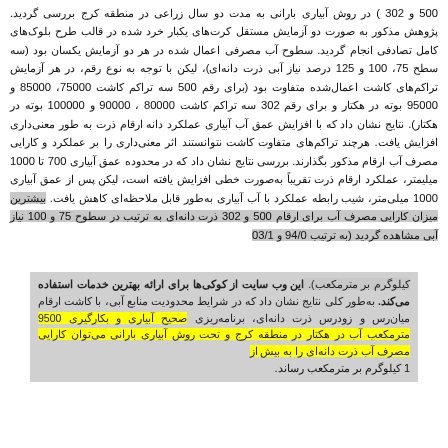500 و 302 ) در روش آبیاری بارانی به مدت دو سال زراعی در منطقه کرج بررسی گردید. پژوهش مذکور به صورت دو آزمایش مستقل کرت‌های یکبار خرد شده در قالب طرح بلوک‌های کامل تصادفی انجام گردید. سطوح آب مصرفی اعمال شده در هر دو آزمایش یکسان بود (سه سطح 75، 100 و 125 درصد نیاز آبی ذرت دانه‌ای)، لیکن با توجه به نوع رقم، در هر آزمایش تراکم‌های کاشت اعمال‌شده متفاوت بود (برای رقم 500 سه تراکم کاشت 75000، 85000 و 95000 بوته در هکتار و برای رقم 302 سه تراکم کاشت 80000 ، 90000 و 100000 بوته در هکتار). نتایج نشان داد که با افزایش عمق آب آبیاری عملکرد دانه ارقام ذرت به طور معنی‌داری افزایش یافت. هرچند تراکم‌های متفاوت کاشت نتوانستند اثر معنی‌داری را بر عملکرد و کارایی مصرف آب ارقام مذکور بگذارند. بررسی نتایج نشان داد که در محدوده عمق آبیاری 700 تا 1000 میلیمتر، عملکرد ارقام ذرت تقریباً به‌صورت خطی افزایش یافته است، لیکن پس از عمق آبیاری 1000 میلی‌متر، شیب رابطه عملکرد با آب آبیاری به‌طور قابل ملاحظه‌ای کاهش یافت. بیشترین میزان کارایی مصرف آب برای ارقام 500 و 302 ذرت دانه‌ای به ترتیب در سطوح 75 و 100 نیاز آبی مشاهده گردید (به ترتیب 94/0 و 03/1 کیلوگرم بر مترمکعب). به‌طور کلی نتایج نشان داد که در شرایط محدودیت منابع آبی، با کاشت ارقام میان‌رس و زودرس ذرت دانه‌ای، برنامه‌ریزی صحیح آبیاری و بکارگیری 9500 مترمکعب آب در هکتار در منطقه کرج و تحت روش آبیاری بارانی می‌توان کارایی مصرف آب ذرت دانه‌ای را به بیش از 1 کیلوگرم بر مترمکعب رساند.